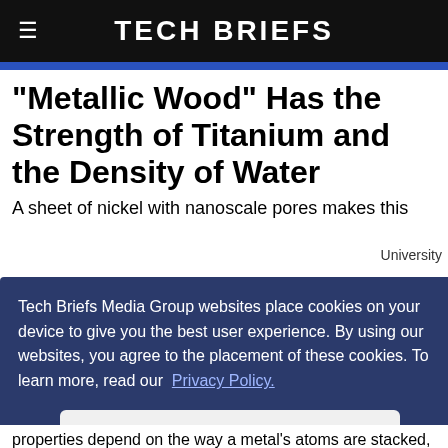Tech Briefs
“Metallic Wood” Has the Strength of Titanium and the Density of Water
A sheet of nickel with nanoscale pores makes this material as strong as titanium but far more
Tech Briefs Media Group websites place cookies on your device to give you the best user experience. By using our websites, you agree to the placement of these cookies. To learn more, read our  Privacy Policy.
Accept & Continue
University
properties depend on the way a metal’s atoms are stacked, but